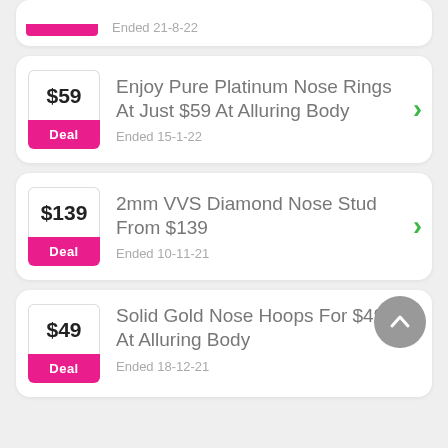Ended 21-8-22
Enjoy Pure Platinum Nose Rings At Just $59 At Alluring Body
Ended 15-1-22
2mm VVS Diamond Nose Stud From $139
Ended 10-11-21
Solid Gold Nose Hoops For $49 At Alluring Body
Ended 18-12-21